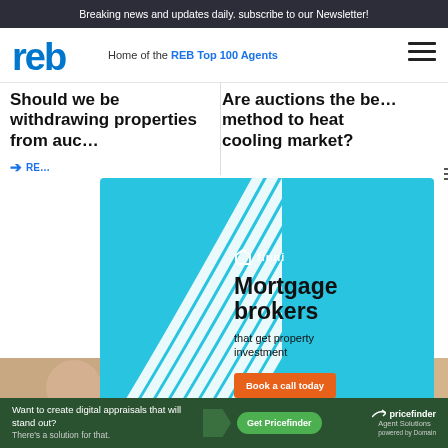Breaking news and updates daily. subscribe to our Newsletter!
[Figure (logo): REB logo - blue letters 'reb']
Home of the REB Top 100 Agents
Should we be withdrawing properties from auction?
READ MORE
Are auctions the best method to heat cooling market?
[Figure (infographic): Finni mortgage brokers advertisement - cyan background with white swoosh lines. Text: Mortgage brokers that get property investment. Book a call today button.]
Late
[Figure (photo): Three person headshot photos in a row]
Want to create digital appraisals that will stand out? There's a solution for that.
Get Pricefinder
pricefinder Agent Solutions